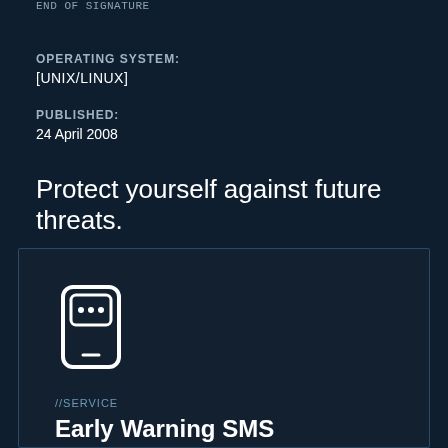END OF SIGNATURE
OPERATING SYSTEM:
[UNIX/LINUX]
PUBLISHED:
24 April 2008
Protect yourself against future threats.
[Figure (illustration): Mobile phone / SMS device icon — white outline of a phone with speech bubble dots]
//SERVICE
Early Warning SMS